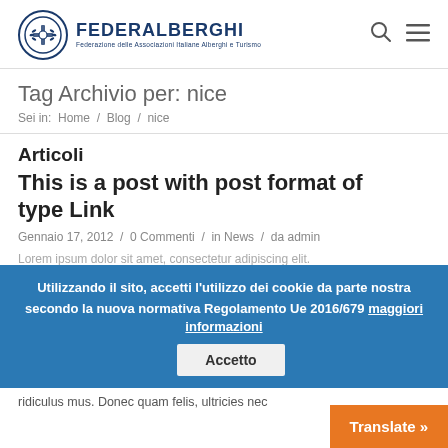FEDERALBERGHI — Federazione delle Associazioni Italiane Alberghi e Turismo
Tag Archivio per: nice
Sei in:  Home / Blog / nice
Articoli
This is a post with post format of type Link
Gennaio 17, 2012 / 0 Commenti / in News / da admin
Lorem ipsum dolor sit amet, consectetur adipiscing elit. Aenean commodo ligula eget dolor. Aenean massa. Cum sociis natoque penatibus et magnis dis parturient montes, nascetur ridiculus mus. Donec quam felis, ultricies nec...
Utilizzando il sito, accetti l'utilizzo dei cookie da parte nostra secondo la nuova normativa Regolamento Ue 2016/679 maggiori informazioni
Accetto
Translate »